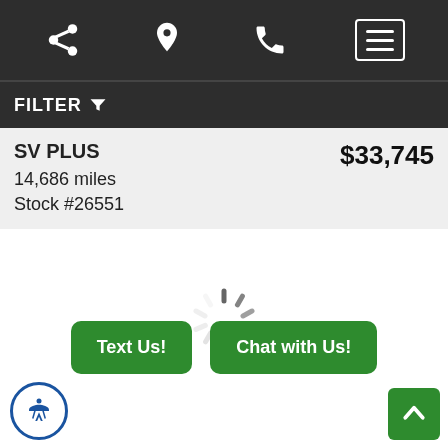Navigation bar with share, location, phone, and menu icons
FILTER
SV PLUS
14,686 miles
Stock #26551
$33,745
[Figure (other): Loading spinner (circular dashed spinner animation)]
Text Us!
Chat with Us!
[Figure (other): Accessibility icon button (person in circle, blue border)]
[Figure (other): Scroll to top button (green square with up arrow)]